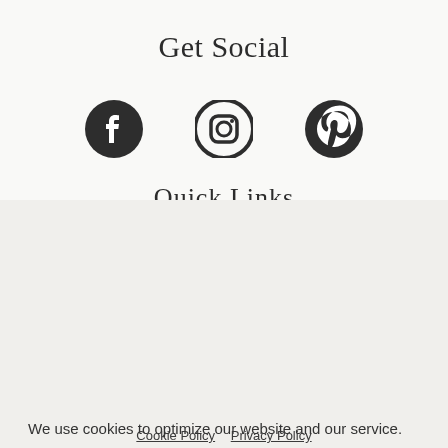Get Social
[Figure (illustration): Three social media icons in dark circles: Facebook, Instagram, Pinterest]
Quick Links
We use cookies to optimize our website and our service.
Accept
Deny
preferences
Cookie Policy  Privacy Policy